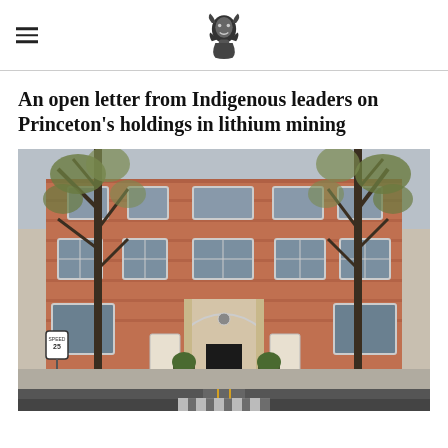[Princeton newspaper logo with hamburger menu]
An open letter from Indigenous leaders on Princeton's holdings in lithium mining
[Figure (photo): Exterior photograph of a multi-story red brick colonial building with white-trimmed windows, a decorative arched entrance, barren trees in the foreground, and a street with yellow lane markings in the foreground. A speed limit 25 sign is visible on the left.]